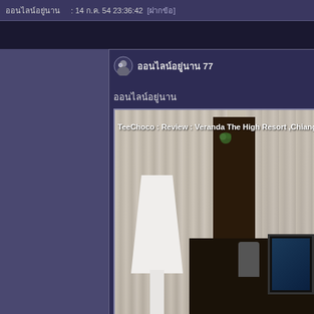ออนไลน์อยู่นาน : 14 ก.ค. 54 23:36:42 [ฝากข้อ]
ออนไลน์อยู่นาน 77
ออนไลน์อยู่นาน
[Figure (photo): Hotel room interior showing curtains, a floor lamp, desk with coffee machine and TV. Watermark reads: TeeChoco : Review : Veranda The High Resort ,Chiangma]